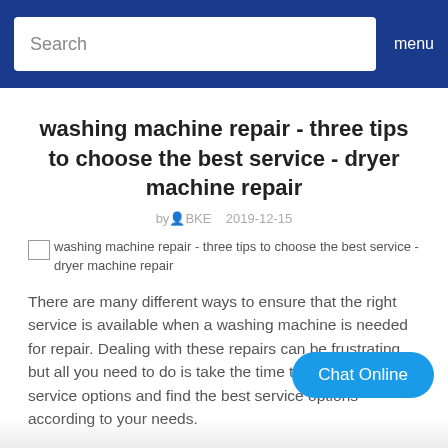Search   menu
washing machine repair - three tips to choose the best service - dryer machine repair
by BKE   2019-12-15
[Figure (photo): Broken image placeholder with alt text: washing machine repair - three tips to choose the best service - dryer machine repair]
There are many different ways to ensure that the right service is available when a washing machine is needed for repair. Dealing with these repairs can be frustrating, but all you need to do is take the time to look at all your service options and find the best service options according to your needs.